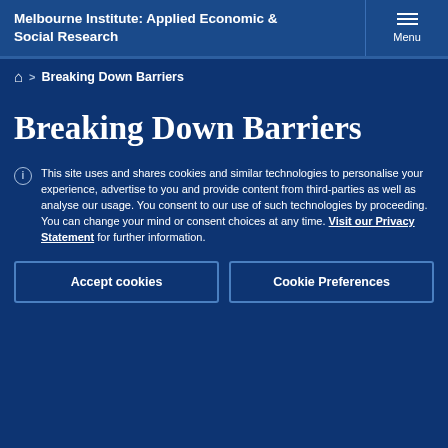Melbourne Institute: Applied Economic & Social Research
Home > Breaking Down Barriers
Breaking Down Barriers
This site uses and shares cookies and similar technologies to personalise your experience, advertise to you and provide content from third-parties as well as analyse our usage. You consent to our use of such technologies by proceeding. You can change your mind or consent choices at any time. Visit our Privacy Statement for further information.
Accept cookies
Cookie Preferences